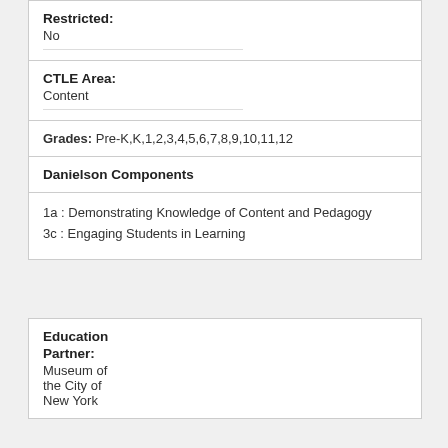| Restricted: | No |
| CTLE Area: | Content |
| Grades: | Pre-K,K,1,2,3,4,5,6,7,8,9,10,11,12 |
| Danielson Components |  |
| 1a : Demonstrating Knowledge of Content and Pedagogy
3c : Engaging Students in Learning |  |
| Education Partner: | Museum of the City of New York |